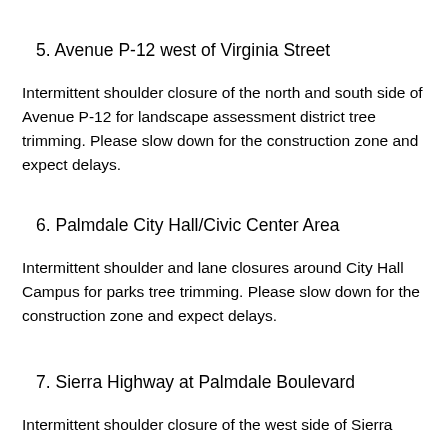5. Avenue P-12 west of Virginia Street
Intermittent shoulder closure of the north and south side of Avenue P-12 for landscape assessment district tree trimming. Please slow down for the construction zone and expect delays.
6. Palmdale City Hall/Civic Center Area
Intermittent shoulder and lane closures around City Hall Campus for parks tree trimming. Please slow down for the construction zone and expect delays.
7. Sierra Highway at Palmdale Boulevard
Intermittent shoulder closure of the west side of Sierra...